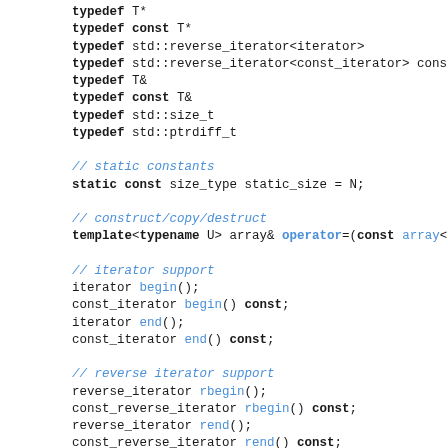typedef T*
typedef const T*
typedef std::reverse_iterator<iterator>
typedef std::reverse_iterator<const_iterator>
typedef T&
typedef const T&
typedef std::size_t
typedef std::ptrdiff_t

// static constants
static const size_type static_size = N;

// construct/copy/destruct
template<typename U> array& operator=(const array<

// iterator support
iterator begin();
const_iterator begin() const;
iterator end();
const_iterator end() const;

// reverse iterator support
reverse_iterator rbegin();
const_reverse_iterator rbegin() const;
reverse_iterator rend();
const_reverse_iterator rend() const;

// capacity
size_type size();
bool empty();
size_type max_size();